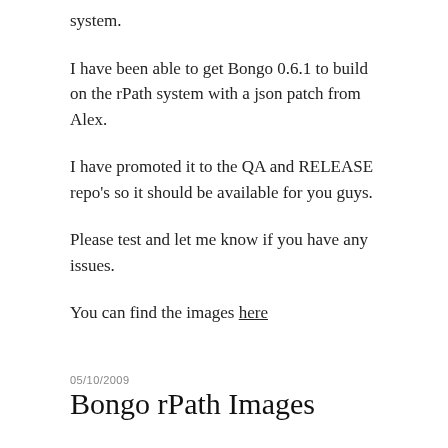system.
I have been able to get Bongo 0.6.1 to build on the rPath system with a json patch from Alex.
I have promoted it to the QA and RELEASE repo's so it should be available for you guys.
Please test and let me know if you have any issues.
You can find the images here
05/10/2009
Bongo rPath Images
I have been trying to get the latest 0.6.1 release of Bongo onto the rPath images. This unfortunately has not